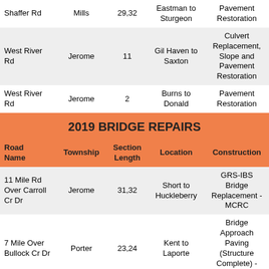| Road Name | Township | Section Length | Location | Construction |
| --- | --- | --- | --- | --- |
| Shaffer Rd | Mills | 29,32 | Eastman to Sturgeon | Pavement Restoration |
| West River Rd | Jerome | 11 | Gil Haven to Saxton | Culvert Replacement, Slope and Pavement Restoration |
| West River Rd | Jerome | 2 | Burns to Donald | Pavement Restoration |
| 2019 BRIDGE REPAIRS |  |  |  |  |
| Road Name | Township | Section Length | Location | Construction |
| 11 Mile Rd Over Carroll Cr Dr | Jerome | 31,32 | Short to Huckleberry | GRS-IBS Bridge Replacement - MCRC |
| 7 Mile Over Bullock Cr Dr | Porter | 23,24 | Kent to Laporte | Bridge Approach Paving (Structure Complete) - MCRC |
| Castor Rd Over... |  |  | Burns to... | Superstructure... |